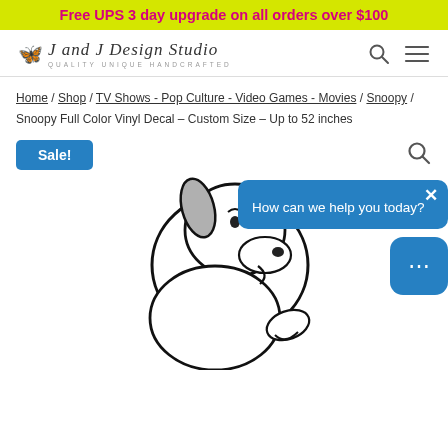Free UPS 3 day upgrade on all orders over $100
[Figure (logo): J and J Design Studio logo with butterfly icon and tagline QUALITY UNIQUE HANDCRAFTED]
Home / Shop / TV Shows - Pop Culture - Video Games - Movies / Snoopy / Snoopy Full Color Vinyl Decal – Custom Size – Up to 52 inches
Sale!
[Figure (illustration): Snoopy character illustration as a vinyl decal sticker, black and white line art of Snoopy sitting]
How can we help you today?